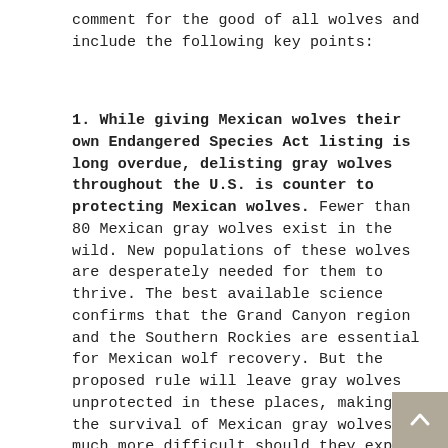comment for the good of all wolves and include the following key points:
1. While giving Mexican wolves their own Endangered Species Act listing is long overdue, delisting gray wolves throughout the U.S. is counter to protecting Mexican wolves. Fewer than 80 Mexican gray wolves exist in the wild. New populations of these wolves are desperately needed for them to thrive. The best available science confirms that the Grand Canyon region and the Southern Rockies are essential for Mexican wolf recovery. But the proposed rule will leave gray wolves unprotected in these places, making the survival of Mexican gray wolves much more difficult should they expand into new areas.